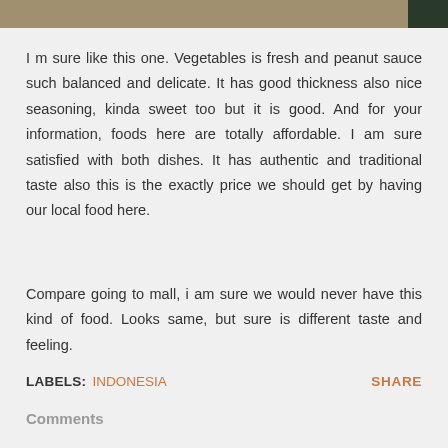[Figure (photo): Top portion of a photo showing food, partially visible at the top of the page]
I m sure like this one. Vegetables is fresh and peanut sauce such balanced and delicate. It has good thickness also nice seasoning, kinda sweet too but it is good. And for your information, foods here are totally affordable. I am sure satisfied with both dishes. It has authentic and traditional taste also this is the exactly price we should get by having our local food here.
Compare going to mall, i am sure we would never have this kind of food. Looks same, but sure is different taste and feeling.
LABELS: INDONESIA    SHARE
Comments